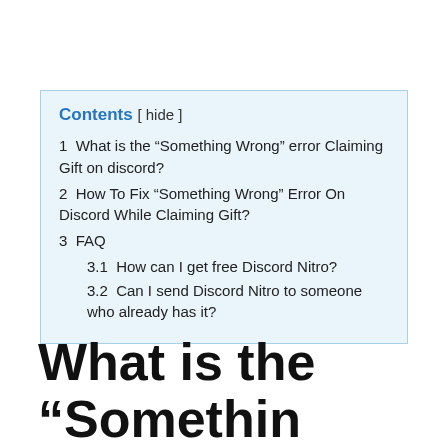Contents [ hide ]
1 What is the “Something Wrong” error Claiming Gift on discord?
2 How To Fix “Something Wrong” Error On Discord While Claiming Gift?
3 FAQ
3.1 How can I get free Discord Nitro?
3.2 Can I send Discord Nitro to someone who already has it?
What is the “Somethin…